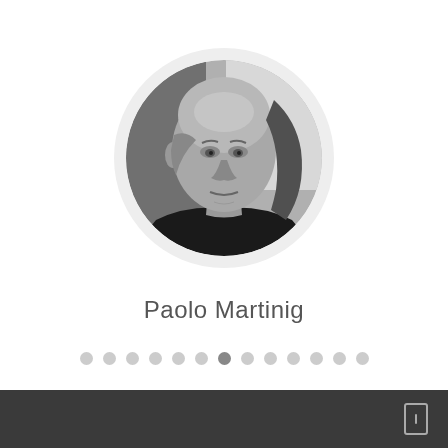[Figure (photo): Black and white circular portrait photo of Paolo Martinig, an older bald man looking directly at the camera with a serious expression, wearing a dark top.]
Paolo Martinig
[Figure (infographic): A horizontal row of 13 small circular dots used as a pagination/carousel indicator. The 7th dot (middle) is darker/active, the rest are light gray.]